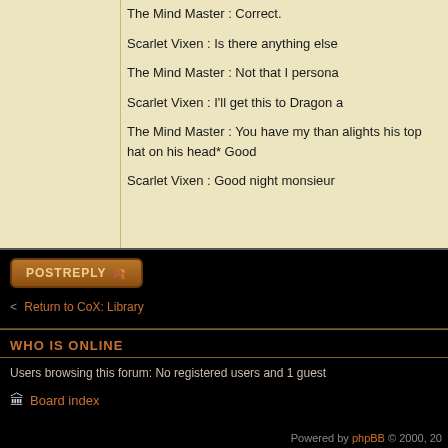The Mind Master : Correct.
Scarlet Vixen : Is there anything else
The Mind Master : Not that I persona
Scarlet Vixen : I'll get this to Dragon a
The Mind Master : You have my than alights his top hat on his head* Good
Scarlet Vixen : Good night monsieur
[Figure (other): POSTREPLY button with leaf icon]
< Return to CoX: Library
WHO IS ONLINE
Users browsing this forum: No registered users and 1 guest
Board index
Powered by phpBB © 2000, 20